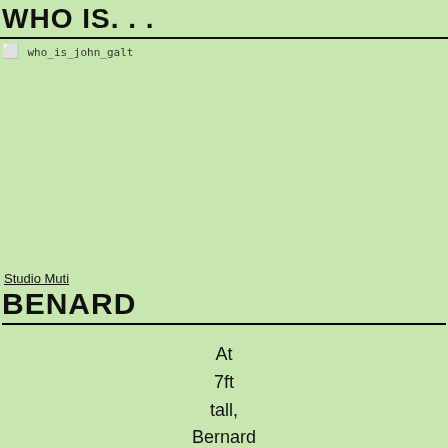WHO IS. . .
[Figure (photo): Image placeholder labeled 'who_is_john_galt' on a light green background]
Studio Muti
BENARD
At 7ft tall, Bernard was